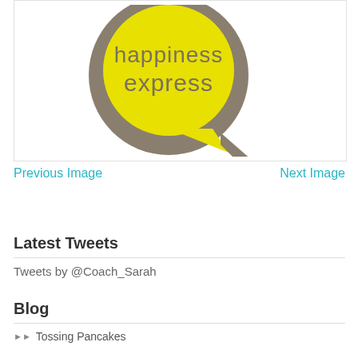[Figure (logo): Happiness Express logo — a yellow speech bubble with dark olive/brown text reading 'happiness express' on a grey-brown circular background]
Previous Image
Next Image
Latest Tweets
Tweets by @Coach_Sarah
Blog
Tossing Pancakes